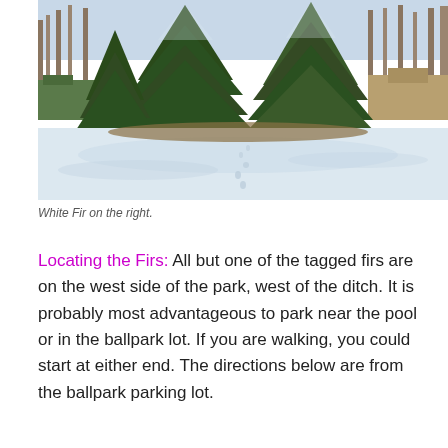[Figure (photo): Outdoor winter scene showing large evergreen fir trees (spruce/fir) with snow on the ground, a snow-covered open area in the foreground with faint footprint tracks, and buildings visible in the background among bare deciduous trees.]
White Fir on the right.
Locating the Firs: All but one of the tagged firs are on the west side of the park, west of the ditch. It is probably most advantageous to park near the pool or in the ballpark lot. If you are walking, you could start at either end. The directions below are from the ballpark parking lot.